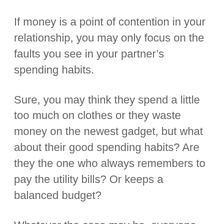If money is a point of contention in your relationship, you may only focus on the faults you see in your partner’s spending habits.
Sure, you may think they spend a little too much on clothes or they waste money on the newest gadget, but what about their good spending habits? Are they the one who always remembers to pay the utility bills? Or keeps a balanced budget?
Whatever the case may be, everyone has their own strengths and weaknesses. If you want to discuss your partner’s spending, then consider what strengths they bring to your financial